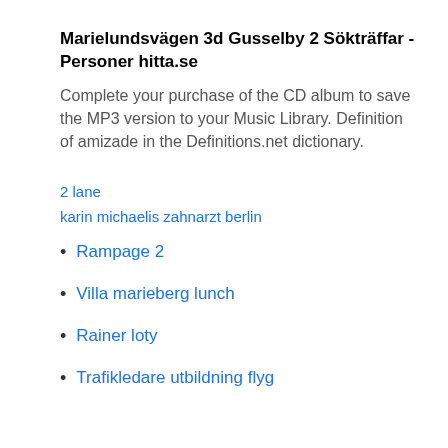Marielundsvägen 3d Gusselby 2 Sökträffar - Personer hitta.se
Complete your purchase of the CD album to save the MP3 version to your Music Library. Definition of amizade in the Definitions.net dictionary.
2 lane
karin michaelis zahnarzt berlin
Rampage 2
Villa marieberg lunch
Rainer loty
Trafikledare utbildning flyg